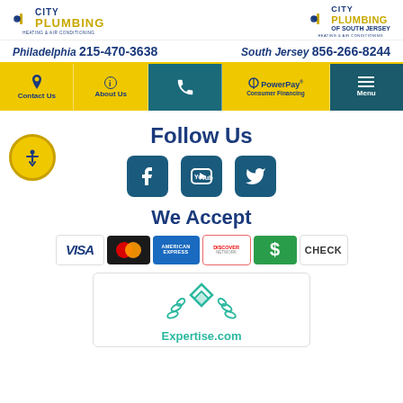[Figure (logo): City Plumbing Heating & Air Conditioning logo (left) and City Plumbing of South Jersey Heating & Air Conditioning logo (right)]
Philadelphia 215-470-3638   South Jersey 856-266-8244
[Figure (infographic): Navigation bar with Contact Us, About Us, phone icon (teal), PowerPay Consumer Financing (gold), and Menu buttons]
Follow Us
[Figure (infographic): Social media icons: Facebook, YouTube, Twitter in teal rounded squares]
We Accept
[Figure (infographic): Payment method icons: VISA, Mastercard, American Express, Discover Network, dollar (cash), CHECK]
[Figure (logo): Expertise.com logo with teal diamond pattern and laurel branches]